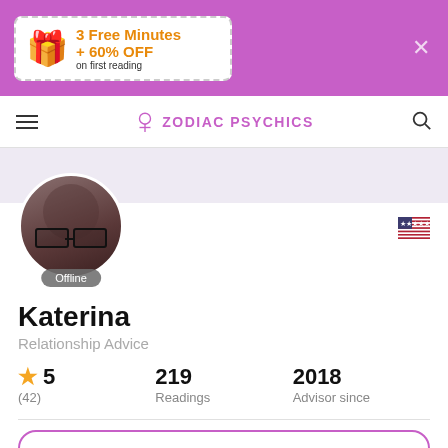[Figure (infographic): Purple promotional banner with coupon showing gift box emoji, '3 Free Minutes + 60% OFF on first reading', and a close X button]
Zodiac Psychics
[Figure (photo): Circular profile photo of a woman with glasses and dark hair, with an Offline badge below]
Katerina
Relationship Advice
★ 5
(42)
219
Readings
2018
Advisor since